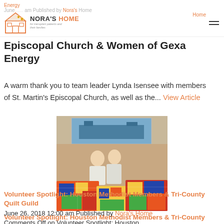Energy
June ... am Published by Nora's Home · Comments Off on Chef of the Day: St. Martin's Episcopal Church & Women of Gexa Energy
[Figure (logo): Nora's Home logo - house icon with text 'NORA'S HOME for transplant patients and their families']
Comments Off on Chef of the Day: St. Martin's Episcopal Church & Women of Gexa Energy
A warm thank you to team leader Lynda Isensee with members of St. Martin's Episcopal Church, as well as the... View Article
[Figure (photo): Two people standing behind a large display of colorful quilts in an indoor setting with artwork on the wall behind them]
Volunteer Spotlight: Houston Methodist Members & Tri-County Quilt Guild
June 26, 2018 12:00 am Published by Nora's Home
Comments Off on Volunteer Spotlight: Houston